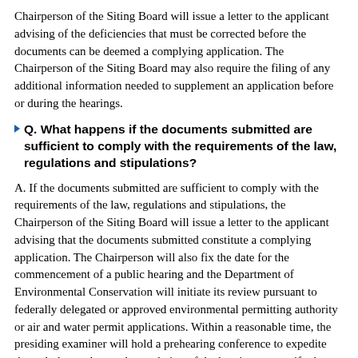Chairperson of the Siting Board will issue a letter to the applicant advising of the deficiencies that must be corrected before the documents can be deemed a complying application. The Chairperson of the Siting Board may also require the filing of any additional information needed to supplement an application before or during the hearings.
Q. What happens if the documents submitted are sufficient to comply with the requirements of the law, regulations and stipulations?
A. If the documents submitted are sufficient to comply with the requirements of the law, regulations and stipulations, the Chairperson of the Siting Board will issue a letter to the applicant advising that the documents submitted constitute a complying application. The Chairperson will also fix the date for the commencement of a public hearing and the Department of Environmental Conservation will initiate its review pursuant to federally delegated or approved environmental permitting authority or air and water permit applications. Within a reasonable time, the presiding examiner will hold a prehearing conference to expedite the orderly conduct and completion of the hearing, to specify the issues, to obtain stipulations as to matters not disputed, and to deal with other matters deemed appropriate. The presiding examiner will then issue an order identifying the issues to be addressed by